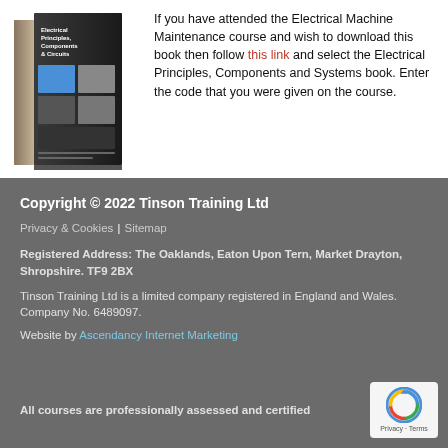[Figure (photo): Book cover of Electrical Principles, Components & Circuits displayed as a 3D angled paperback book]
If you have attended the Electrical Machine Maintenance course and wish to download this book then follow this link and select the Electrical Principles, Components and Systems book. Enter the code that you were given on the course.
Copyright © 2022 Tinson Training Ltd
Privacy & Cookies | Sitemap
Registered Address: The Oaklands, Eaton Upon Tern, Market Drayton, Shropshire. TF9 2BX
Tinson Training Ltd is a limited company registered in England and Wales. Company No. 6489097.
Website by Ascendancy Internet Marketing
All courses are professionally assessed and certified
[Figure (logo): reCAPTCHA badge with Privacy and Terms labels]